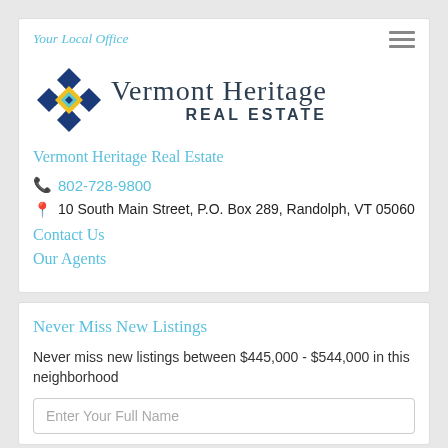Your Local Office
[Figure (logo): Vermont Heritage Real Estate logo with diamond quilt pattern in blue and yellow, and serif text reading Vermont Heritage Real Estate]
Vermont Heritage Real Estate
802-728-9800
10 South Main Street, P.O. Box 289, Randolph, VT 05060
Contact Us
Our Agents
Never Miss New Listings
Never miss new listings between $445,000 - $544,000 in this neighborhood
Enter Your Full Name